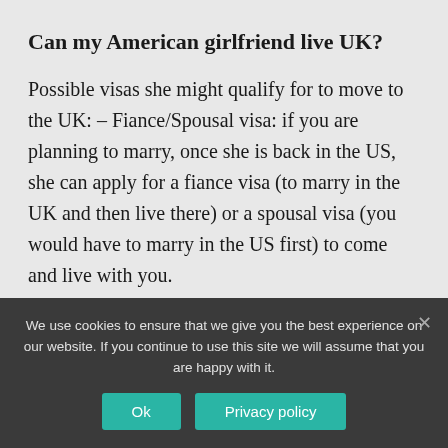Can my American girlfriend live UK?
Possible visas she might qualify for to move to the UK: – Fiance/Spousal visa: if you are planning to marry, once she is back in the US, she can apply for a fiance visa (to marry in the UK and then live there) or a spousal visa (you would have to marry in the US first) to come and live with you.
Can a US citizen get married in the
We use cookies to ensure that we give you the best experience on our website. If you continue to use this site we will assume that you are happy with it.